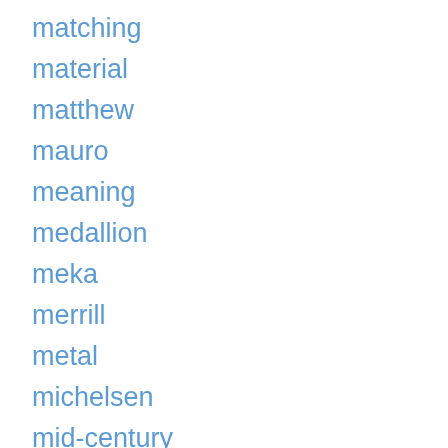matching
material
matthew
mauro
meaning
medallion
meka
merrill
metal
michelsen
mid-century
mighty
million
minelab
mini
miniature
misadventures